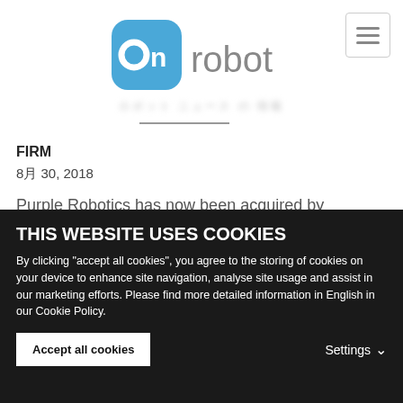[Figure (logo): OnRobot logo — blue rounded square with white 'On' text, followed by 'robot' in gray sans-serif]
hamburger menu icon
ロボット ニュース (blurred navigation text)
FIRM
8月 30, 2018
Purple Robotics has now been acquired by OnRobot, one of the truly significant robot industry endeavours. The acquisition takes place a mere two months after the OnRobot merger of three robotics…
THIS WEBSITE USES COOKIES
By clicking "accept all cookies", you agree to the storing of cookies on your device to enhance site navigation, analyse site usage and assist in our marketing efforts. Please find more detailed information in English in our Cookie Policy.
Accept all cookies    Settings